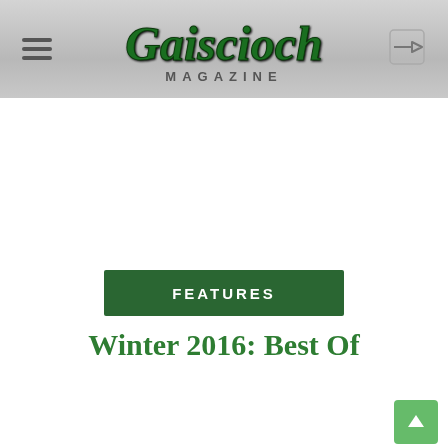Gaiscioch Magazine
FEATURES
Winter 2016: Best Of